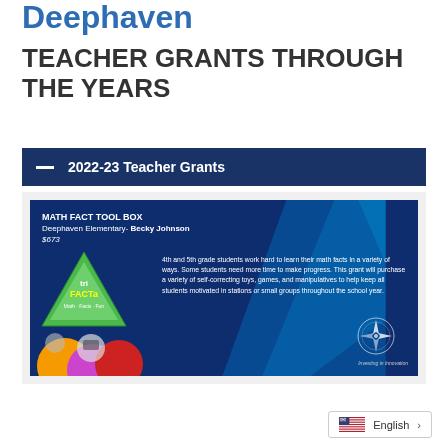Deephaven
TEACHER GRANTS THROUGH THE YEARS
2022-23 Teacher Grants
[Figure (infographic): Grant card for Math Fact Tool Box by Becky Johnson at Deephaven Elementary, $673. Shows tri-FACTa triangle game and colorful spinning math discs. Description: 4th and 5th grade students work hard to learn their math facts in a variety of ways. Some students need more time to make progress. This grant will purchase a variety of self-correcting toys, games, and manipulatives to help keep all students motivated in stations or small groups throughout the school year.]
English >